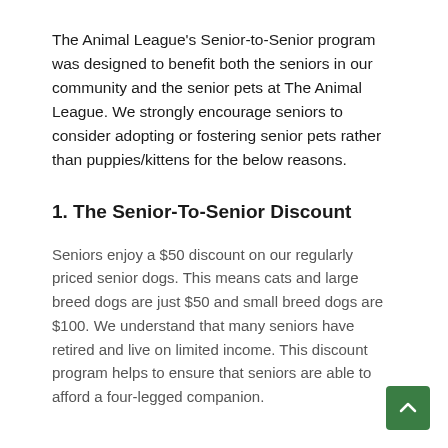The Animal League's Senior-to-Senior program was designed to benefit both the seniors in our community and the senior pets at The Animal League. We strongly encourage seniors to consider adopting or fostering senior pets rather than puppies/kittens for the below reasons.
1. The Senior-To-Senior Discount
Seniors enjoy a $50 discount on our regularly priced senior dogs. This means cats and large breed dogs are just $50 and small breed dogs are $100. We understand that many seniors have retired and live on limited income. This discount program helps to ensure that seniors are able to afford a four-legged companion.